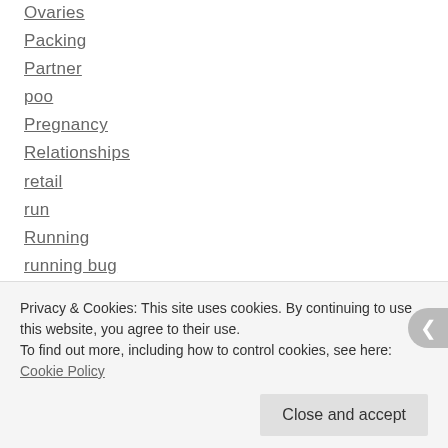Ovaries
Packing
Partner
poo
Pregnancy
Relationships
retail
run
Running
running bug
runs
Salad
Privacy & Cookies: This site uses cookies. By continuing to use this website, you agree to their use.
To find out more, including how to control cookies, see here: Cookie Policy
Close and accept